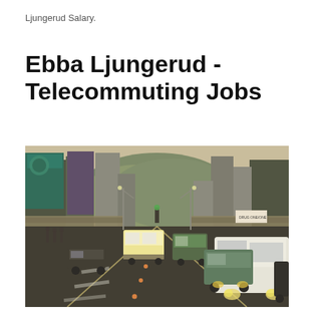Ljungerud Salary.
Ebba Ljungerud - Telecommuting Jobs
[Figure (photo): A busy urban street in an Asian city, likely Japan (Kyoto), showing a wide avenue lined with commercial buildings, neon signs, and shop awnings on both sides. Multiple buses and cars are visible in traffic. In the background, a forested hill is visible. The scene is captured at street level with a perspective looking down the middle of the road.]